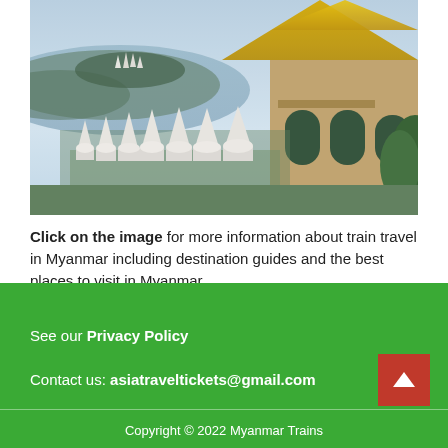[Figure (photo): Aerial view of Myanmar Buddhist temples and pagodas with golden spires, white stupas, and a river in the background with misty mountains.]
Click on the image for more information about train travel in Myanmar including destination guides and the best places to visit in Myanmar.
See our Privacy Policy
Contact us: asiatraveltickets@gmail.com
Copyright © 2022 Myanmar Trains